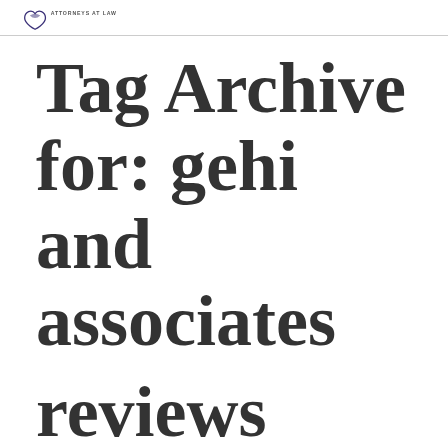ATTORNEYS AT LAW (logo)
Tag Archive for: gehi and associates reviews